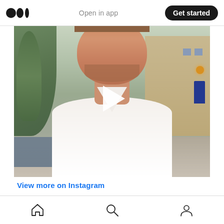Medium logo | Open in app | Get started
[Figure (screenshot): A man in a white V-neck shirt, short brown hair and beard stubble, looking at the camera. Background shows trees on the left and a building on the right. A white play button triangle is overlaid in the center of the image. This appears to be an embedded Instagram video player.]
View more on Instagram
[Figure (screenshot): Instagram action bar with heart (like), comment bubble, share/upload arrow icons on the left, and a bookmark icon on the right.]
[Figure (screenshot): Instagram bottom navigation bar with home, search, and profile icons.]